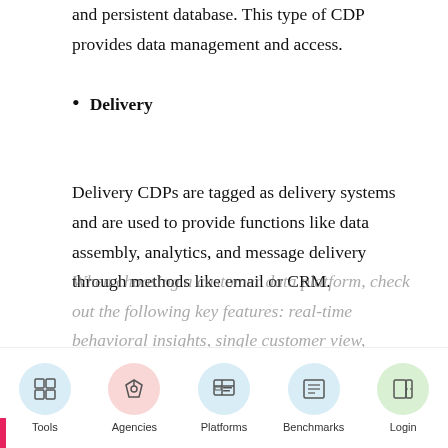and persistent database. This type of CDP provides data management and access.
Delivery
Delivery CDPs are tagged as delivery systems and are used to provide functions like data assembly, analytics, and message delivery through methods like email or CRM.
CDP Key Features
When choosing a customer data platform, check out the following key features: real-time behavioral insights, single customer view,
Tools | Agencies | Platforms | Benchmarks | Login